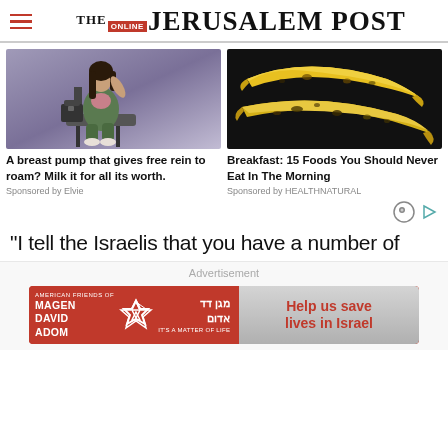THE JERUSALEM POST
[Figure (photo): Woman in green outfit sitting on chair with a laptop bag]
[Figure (photo): Two ripe bananas with brown spots on dark background]
A breast pump that gives free rein to roam? Milk it for all its worth.
Sponsored by Elvie
Breakfast: 15 Foods You Should Never Eat In The Morning
Sponsored by HEALTHNATURAL
"I tell the Israelis that you have a number of
Advertisement
[Figure (infographic): Magen David Adom / American Friends of Magen David Adom advertisement banner with text: Help us save lives in Israel]